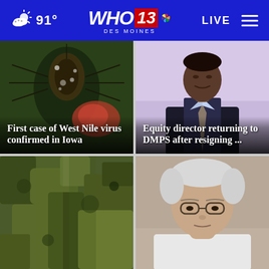91° WHO 13 DES MOINES LIVE
[Figure (photo): Close-up macro photo of a mosquito on a surface with red/brown tones, news card for West Nile virus story]
[Figure (photo): Photo of a Black man in a dark suit and tie, news card for equity director story]
[Figure (photo): Photo of military camouflage clothing/pants, partial news card]
[Figure (photo): Photo of an older white-haired man with glasses, partial news card]